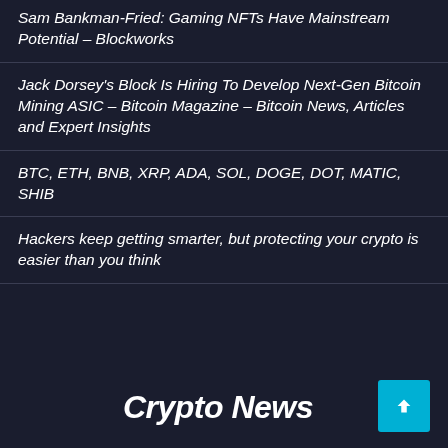Sam Bankman-Fried: Gaming NFTs Have Mainstream Potential – Blockworks
Jack Dorsey's Block Is Hiring To Develop Next-Gen Bitcoin Mining ASIC – Bitcoin Magazine – Bitcoin News, Articles and Expert Insights
BTC, ETH, BNB, XRP, ADA, SOL, DOGE, DOT, MATIC, SHIB
Hackers keep getting smarter, but protecting your crypto is easier than you think
Crypto News